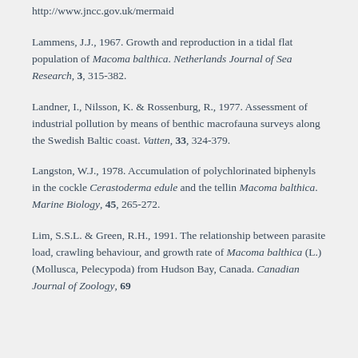http://www.jncc.gov.uk/mermaid
Lammens, J.J., 1967. Growth and reproduction in a tidal flat population of Macoma balthica. Netherlands Journal of Sea Research, 3, 315-382.
Landner, I., Nilsson, K. & Rossenburg, R., 1977. Assessment of industrial pollution by means of benthic macrofauna surveys along the Swedish Baltic coast. Vatten, 33, 324-379.
Langston, W.J., 1978. Accumulation of polychlorinated biphenyls in the cockle Cerastoderma edule and the tellin Macoma balthica. Marine Biology, 45, 265-272.
Lim, S.S.L. & Green, R.H., 1991. The relationship between parasite load, crawling behaviour, and growth rate of Macoma balthica (L.) (Mollusca, Pelecypoda) from Hudson Bay, Canada. Canadian Journal of Zoology, 69